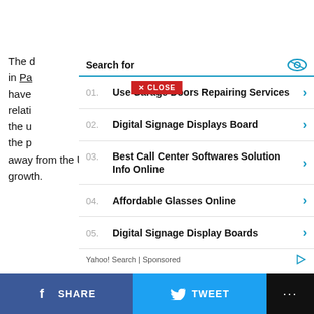[Figure (screenshot): Red close button with X and CLOSE text]
Search for
01. Use Garage Doors Repairing Services
02. Digital Signage Displays Board
03. Best Call Center Softwares Solution Info Online
04. Affordable Glasses Online
05. Digital Signage Display Boards
Yahoo! Search | Sponsored
The d...ving in Pa...ices have...ses relati...ts the u...t by the p...y away from the U.S. and looks to China for its future growth.
SHARE   TWEET   ...